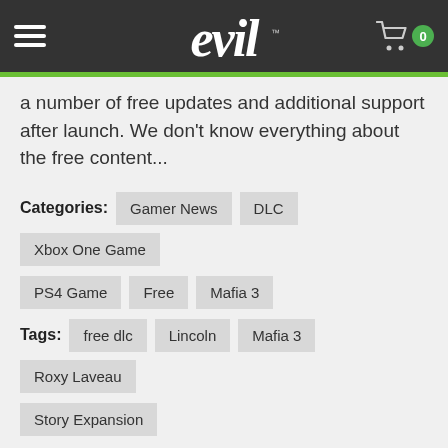evil™ — menu and cart header
a number of free updates and additional support after launch. We don't know everything about the free content...
Categories: Gamer News  DLC  Xbox One Game  PS4 Game  Free  Mafia 3
Tags: free dlc  Lincoln  Mafia 3  Roxy Laveau  Story Expansion
2 Item(s)